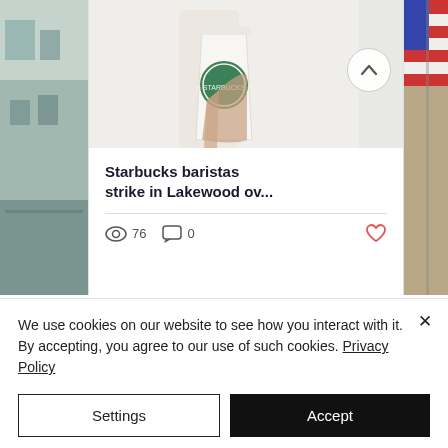[Figure (photo): A hand holding a Starbucks white cup with the Starbucks logo against a light background. Left side shows partial view of a building, right side shows partial view of an American flag.]
Starbucks baristas strike in Lakewood ov...
76 views · 0 comments · heart/like icon
We use cookies on our website to see how you interact with it. By accepting, you agree to our use of such cookies. Privacy Policy
Settings
Accept